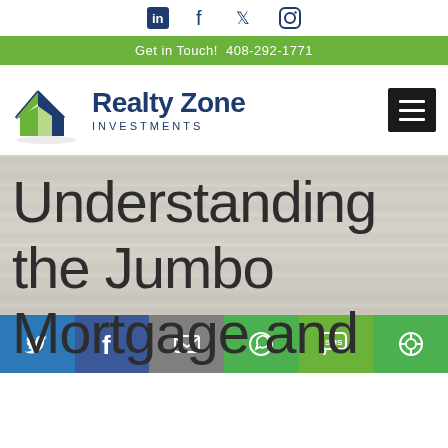Social icons: LinkedIn, Facebook, Twitter, Instagram
Get in Touch!  408-292-1771
[Figure (logo): Realty Zone Investments logo with house icon in green and dark blue]
Understanding the Jumbo Mortgage and Why Refinancing These
[Figure (infographic): Bottom share bar with Twitter, Facebook, Email, WhatsApp, SMS, and share icons]